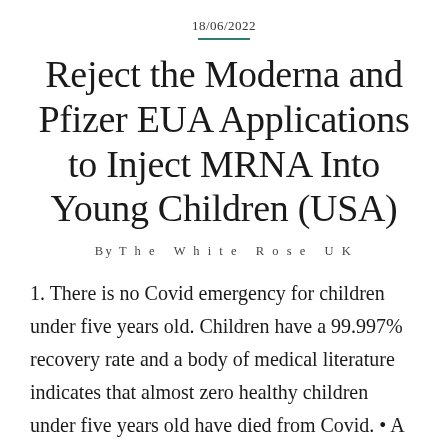18/06/2022
Reject the Moderna and Pfizer EUA Applications to Inject MRNA Into Young Children (USA)
By The White Rose UK
1. There is no Covid emergency for children under five years old. Children have a 99.997% recovery rate and a body of medical literature indicates that almost zero healthy children under five years old have died from Covid. • A large study